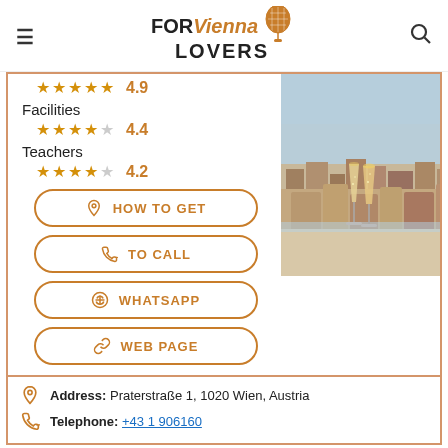FOR Vienna LOVERS
Facilities
★★★★☆ 4.4
Teachers
★★★★☆ 4.2
[Figure (photo): Two champagne glasses on a rooftop bar with a panoramic view of Vienna city]
HOW TO GET
TO CALL
WHATSAPP
WEB PAGE
Address: Praterstraße 1, 1020 Wien, Austria
Telephone: +43 1 906160